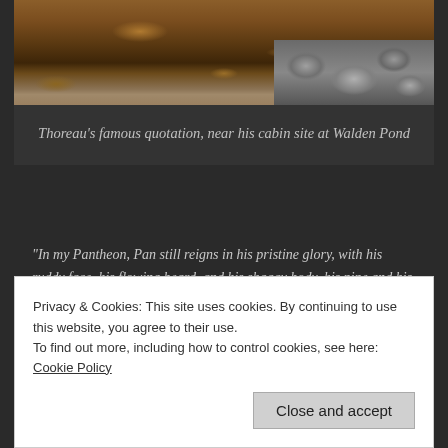[Figure (photo): Autumn forest floor with orange-brown fallen leaves and pine needles on the left, and scattered gray rocks on the right side of the image.]
Thoreau's famous quotation, near his cabin site at Walden Pond
"In my Pantheon, Pan still reigns in his pristine glory, with his ruddy face, his flowing beard, and his shaggy body, his pipe and his crook, his nymph Echo, and his chosen daughter Iambe; for the great god Pan is not dead, as was rumored. No god ever dies. Perhaps of all the gods of New England and of ancient Greece, I am most constant at his shrine."
Privacy & Cookies: This site uses cookies. By continuing to use this website, you agree to their use.
To find out more, including how to control cookies, see here: Cookie Policy